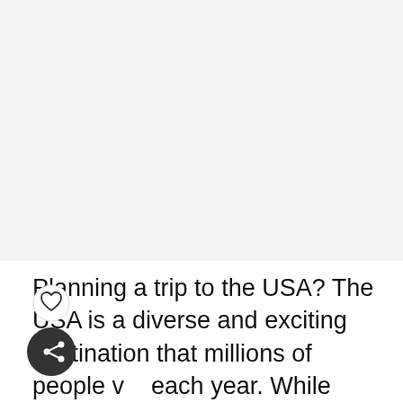[Figure (photo): Large image placeholder at top of page, light gray background]
Planning a trip to the USA? The USA is a diverse and exciting destination that millions of people visit each year. While there are many different regions you could choose to visit throughout the nation, our USA travel guide will point you to